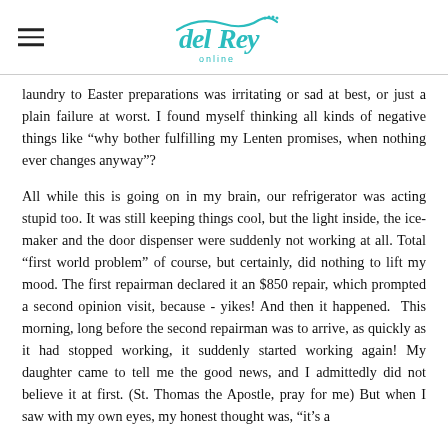del Rey online [logo]
laundry to Easter preparations was irritating or sad at best, or just a plain failure at worst. I found myself thinking all kinds of negative things like “why bother fulfilling my Lenten promises, when nothing ever changes anyway”?
All while this is going on in my brain, our refrigerator was acting stupid too. It was still keeping things cool, but the light inside, the ice-maker and the door dispenser were suddenly not working at all. Total “first world problem” of course, but certainly, did nothing to lift my mood. The first repairman declared it an $850 repair, which prompted a second opinion visit, because - yikes! And then it happened. This morning, long before the second repairman was to arrive, as quickly as it had stopped working, it suddenly started working again! My daughter came to tell me the good news, and I admittedly did not believe it at first. (St. Thomas the Apostle, pray for me) But when I saw with my own eyes, my honest thought was, “it’s a